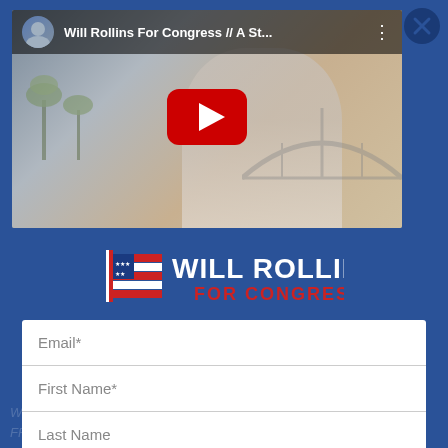[Figure (screenshot): YouTube video thumbnail showing Will Rollins For Congress campaign video with title 'Will Rollins For Congress // A St...' and a YouTube play button overlay. Shows a man in a light blue shirt with palm trees and a bridge in the background.]
[Figure (logo): Will Rollins For Congress campaign logo with an American flag graphic on the left, 'WILL ROLLINS' in bold white text and 'FOR CONGRESS' in bold red text below.]
Email*
First Name*
Last Name
Postal Code*